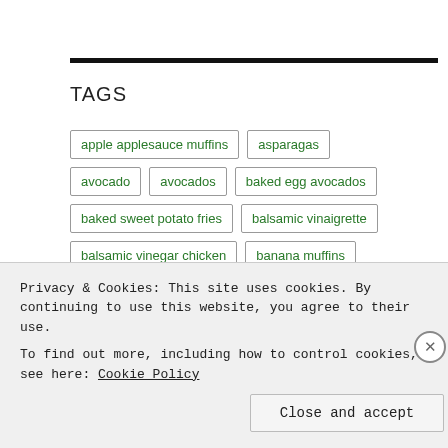TAGS
apple applesauce muffins
asparagas
avocado
avocados
baked egg avocados
baked sweet potato fries
balsamic vinaigrette
balsamic vinegar chicken
banana muffins
Privacy & Cookies: This site uses cookies. By continuing to use this website, you agree to their use.
To find out more, including how to control cookies, see here: Cookie Policy
Close and accept